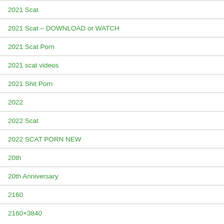2021 Scat
2021 Scat – DOWNLOAD or WATCH
2021 Scat Porn
2021 scat videos
2021 Shit Porn
2022
2022 Scat
2022 SCAT PORN NEW
20th
20th Anniversary
2160
2160×3840